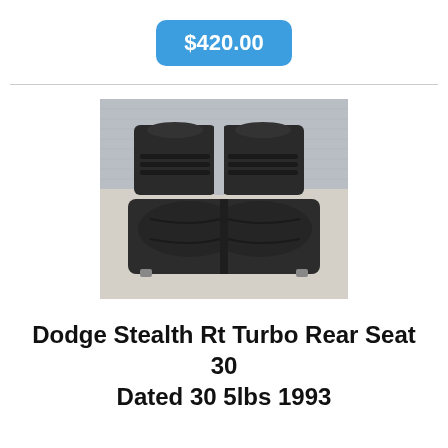$420.00
[Figure (photo): Black leather rear seat for a Dodge Stealth RT Turbo, shown against a diamond-plate metal background. The seat includes both the backrest and seat cushion sections in dark/black leather.]
Dodge Stealth Rt Turbo Rear Seat 30 Dated 30 5lbs 1993